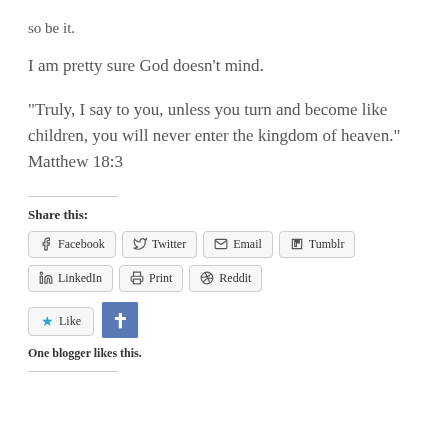so be it.
I am pretty sure God doesn’t mind.
“Truly, I say to you, unless you turn and become like children, you will never enter the kingdom of heaven.” Matthew 18:3
Share this:
Facebook
Twitter
Email
Tumblr
LinkedIn
Print
Reddit
One blogger likes this.